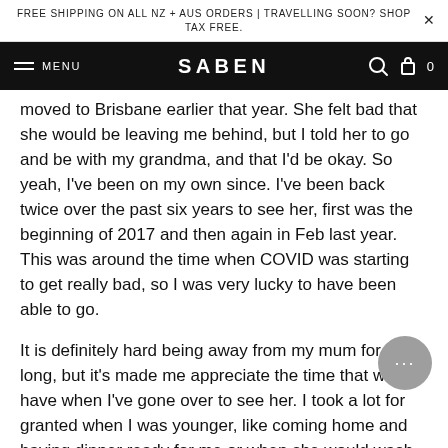FREE SHIPPING ON ALL NZ + AUS ORDERS | TRAVELLING SOON? SHOP TAX FREE.
MENU   SABEN   0
moved to Brisbane earlier that year. She felt bad that she would be leaving me behind, but I told her to go and be with my grandma, and that I'd be okay. So yeah, I've been on my own since. I've been back twice over the past six years to see her, first was the beginning of 2017 and then again in Feb last year. This was around the time when COVID was starting to get really bad, so I was very lucky to have been able to go.
It is definitely hard being away from my mum for so long, but it's made me appreciate the time that we have when I've gone over to see her. I took a lot for granted when I was younger, like coming home and having dinner ready for me or when she would wash and fold all my clo... Lots of little things that she did for me I apprecia... more now and I wish I could have shown her appreciation while we were still living together!